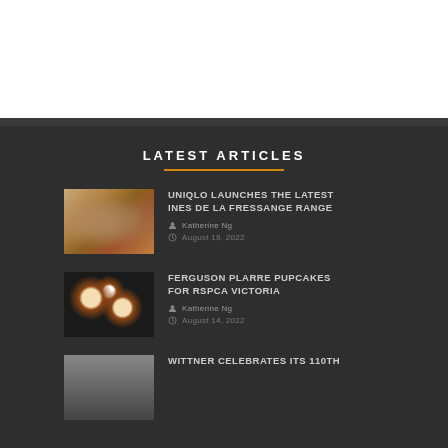LATEST ARTICLES
[Figure (photo): Two women in light-colored fashion outfits standing outside a building with warm adobe exterior]
UNIQLO LAUNCHES THE LATEST INES DE LA FRESSANGE RANGE
Katherine Ng
August 18, 2022
[Figure (photo): Dog-shaped cupcakes decorated to look like puppy faces, viewed from above on dark background]
FERGUSON PLARRE PUPCAKES FOR RSPCA VICTORIA
Katherine Ng
August 14, 2022
[Figure (photo): Crowd of people at an event]
WITTNER CELEBRATES ITS 110TH